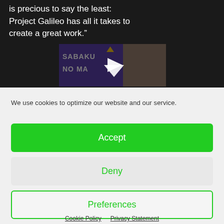is precious to say the least: Project Galileo has all it takes to create a great work.”
[Figure (screenshot): Video thumbnail showing 'SABAKU NO MA...' text on purple background with a person visible and a play button overlay]
We use cookies to optimize our website and our service.
Accept
Deny
Preferences
Cookie Policy  Privacy Statement